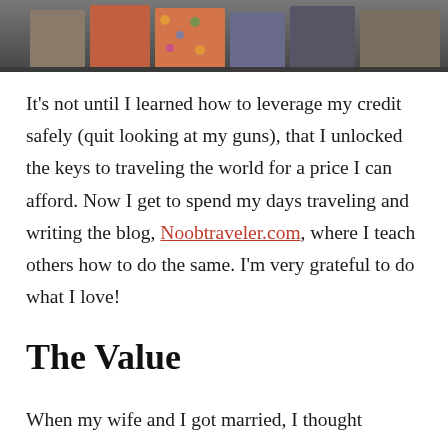[Figure (photo): A cropped photo strip at the top of the page showing people's lower bodies, colorful clothing and bags, with a dark/muted tone.]
It's not until I learned how to leverage my credit safely (quit looking at my guns), that I unlocked the keys to traveling the world for a price I can afford. Now I get to spend my days traveling and writing the blog, Noobtraveler.com, where I teach others how to do the same. I'm very grateful to do what I love!
The Value
When my wife and I got married, I thought